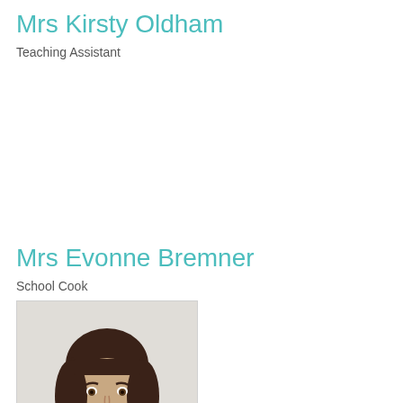Mrs Kirsty Oldham
Teaching Assistant
Mrs Evonne Bremner
School Cook
[Figure (photo): Portrait photo of Mrs Evonne Bremner, a woman with dark brown shoulder-length hair with a fringe, smiling, wearing a light-coloured top]